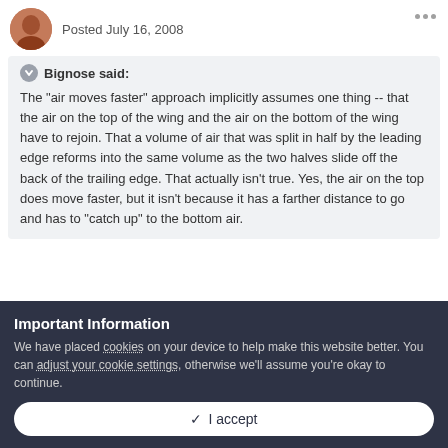Posted July 16, 2008
Bignose said:
The "air moves faster" approach implicitly assumes one thing -- that the air on the top of the wing and the air on the bottom of the wing have to rejoin. That a volume of air that was split in half by the leading edge reforms into the same volume as the two halves slide off the back of the trailing edge. That actually isn't true. Yes, the air on the top does move faster, but it isn't because it has a farther distance to go and has to "catch up" to the bottom air.
Important Information
We have placed cookies on your device to help make this website better. You can adjust your cookie settings, otherwise we'll assume you're okay to continue.
I accept